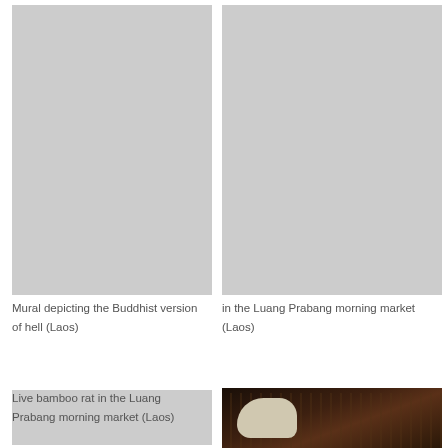[Figure (photo): Photo placeholder - Mural depicting the Buddhist version of hell (Laos)]
Mural depicting the Buddhist version of hell (Laos)
[Figure (photo): Photo placeholder - in the Luang Prabang morning market (Laos)]
in the Luang Prabang morning market (Laos)
[Figure (photo): Photo placeholder - Live bamboo rat in the Luang Prabang morning market (Laos)]
Live bamboo rat in the Luang Prabang morning market (Laos)
[Figure (photo): Dark photo of animal in market, Luang Prabang morning market, Laos]